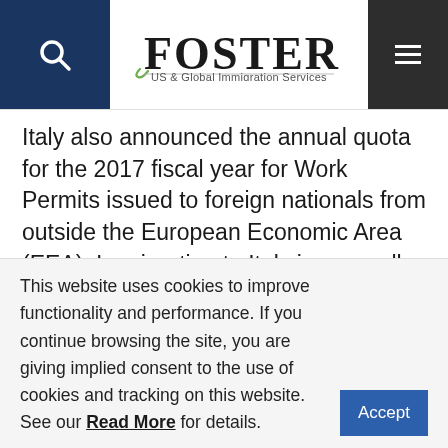Foster — US & Global Immigration Services
Italy also announced the annual quota for the 2017 fiscal year for Work Permits issued to foreign nationals from outside the European Economic Area (EEA). Immigration to Italy is generally based on a quota-system set annually by a decree that enumerates the amount and categories of available visas. In 2017, a maximum of 30,850 Italian Work Permits are available to foreign workers from
This website uses cookies to improve functionality and performance. If you continue browsing the site, you are giving implied consent to the use of cookies and tracking on this website. See our Read More for details. Accept